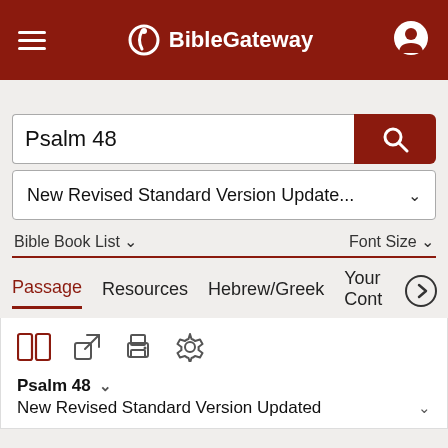BibleGateway
Psalm 48
New Revised Standard Version Update... ∨
Bible Book List ∨   Font Size ∨
Passage   Resources   Hebrew/Greek   Your Cont >
Psalm 48 ∨
New Revised Standard Version Updated ∨